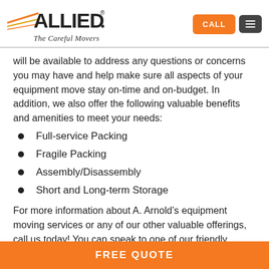[Figure (logo): Allied Van Lines logo - 'The Careful Movers' with yellow/orange speed lines]
will be available to address any questions or concerns you may have and help make sure all aspects of your equipment move stay on-time and on-budget. In addition, we also offer the following valuable benefits and amenities to meet your needs:
Full-service Packing
Fragile Packing
Assembly/Disassembly
Short and Long-term Storage
For more information about A. Arnold’s equipment moving services or any of our other valuable offerings, call us today! You can speak to one of our friendly, helpful representatives
FREE QUOTE